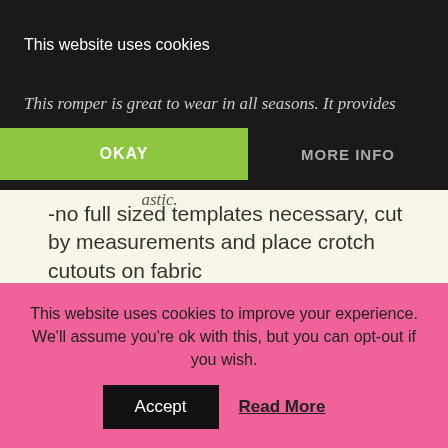PATTERN DETAILS:
This romper is great to wear in all seasons. It provides ... elastic.
This website uses cookies
OKAY
MORE INFO
-no full sized templates necessary, cut by measurements and place crotch cutouts on fabric
-Elasticized ties, so any little BIG girl can dress herself now without mommy's help! Simply step into the romper from the top and pull it on over her shoulders! The straps have elastic!
-Separate option tutorial: for adding snap button tape to i...
This website uses cookies to improve your experience. We'll assume you're ok with this, but you can opt-out if you wish.
Accept
Read More